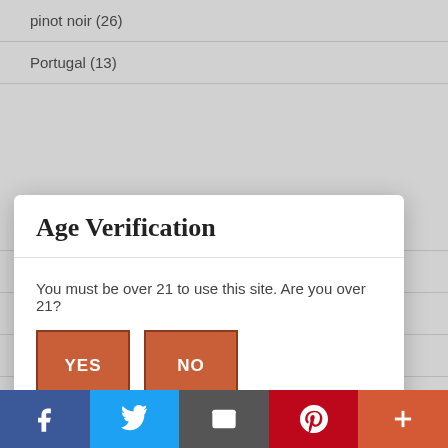pinot noir (26)
Portugal (13)
Sauvignon Blanc (21)
spain (27)
Syrah (42)
tempranillo (17)
Age Verification
You must be over 21 to use this site. Are you over 21?
YES   NO
Facebook  Twitter  Email  Pinterest  More